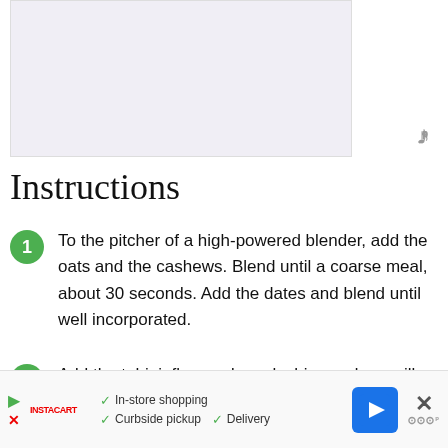[Figure (photo): Light purple/grey rectangular image placeholder area at the top of the page]
Instructions
To the pitcher of a high-powered blender, add the oats and the cashews. Blend until a coarse meal, about 30 seconds. Add the dates and blend until well incorporated.
Add the tahini, flaxseed meal, chia seeds, vanilla, and salt. Pulse, scraping down the sides with a spatula when necessary, until
In-store shopping  Curbside pickup  Delivery